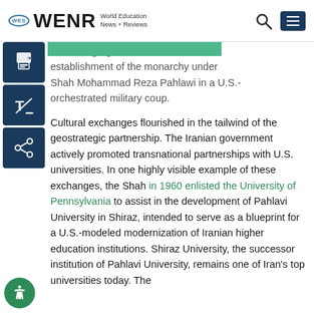WENR World Education News + Reviews
Mossadegh government, and the re-establishment of the monarchy under Shah Mohammad Reza Pahlawi in a U.S.-orchestrated military coup.
Cultural exchanges flourished in the tailwind of the geostrategic partnership. The Iranian government actively promoted transnational partnerships with U.S. universities. In one highly visible example of these exchanges, the Shah in 1960 enlisted the University of Pennsylvania to assist in the development of Pahlavi University in Shiraz, intended to serve as a blueprint for a U.S.-modeled modernization of Iranian higher education institutions. Shiraz University, the successor institution of Pahlavi University, remains one of Iran's top universities today. The